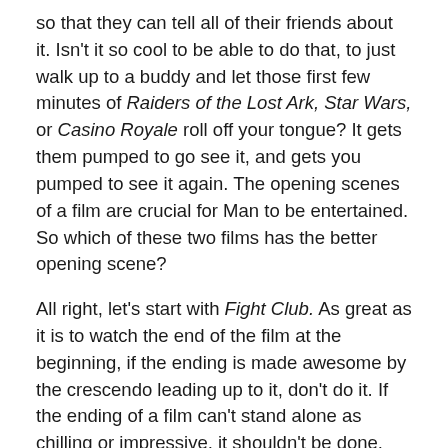so that they can tell all of their friends about it. Isn't it so cool to be able to do that, to just walk up to a buddy and let those first few minutes of Raiders of the Lost Ark, Star Wars, or Casino Royale roll off your tongue? It gets them pumped to go see it, and gets you pumped to see it again. The opening scenes of a film are crucial for Man to be entertained. So which of these two films has the better opening scene?
All right, let's start with Fight Club. As great as it is to watch the end of the film at the beginning, if the ending is made awesome by the crescendo leading up to it, don't do it. If the ending of a film can't stand alone as chilling or impressive, it shouldn't be done. Don't get me wrong, the opening of Fight Club is fine. It justs feels a bit slow and sleepy to me. It's funny, but not exactly as awesome as the opening of the opponent.